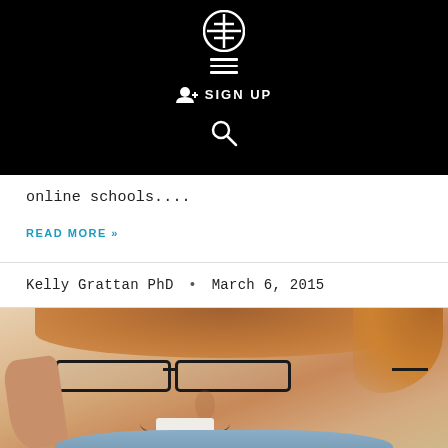FF logo, hamburger menu, SIGN UP, search icon
online schools....
READ MORE »
Kelly Grattan PhD  •  March 6, 2015
[Figure (photo): Close-up photo of a smiling man with glasses and reddish-brown hair, wearing a blue shirt, hand near face]